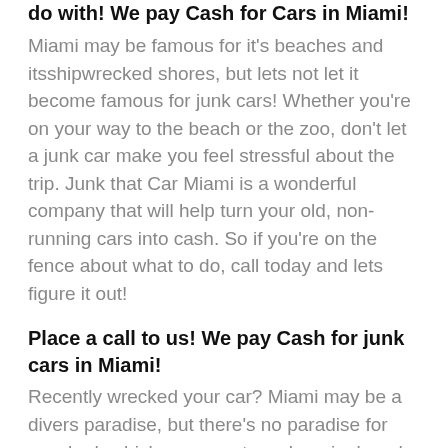do with! We pay Cash for Cars in Miami!
Miami may be famous for it's beaches and itsshipwrecked shores, but lets not let it become famous for junk cars! Whether you're on your way to the beach or the zoo, don't let a junk car make you feel stressful about the trip. Junk that Car Miami is a wonderful company that will help turn your old, non-running cars into cash. So if you're on the fence about what to do, call today and lets figure it out!
Place a call to us! We pay Cash for junk cars in Miami!
Recently wrecked your car? Miami may be a divers paradise, but there's no paradise for wrecked vehicles—except maybe a junkyard. That's where